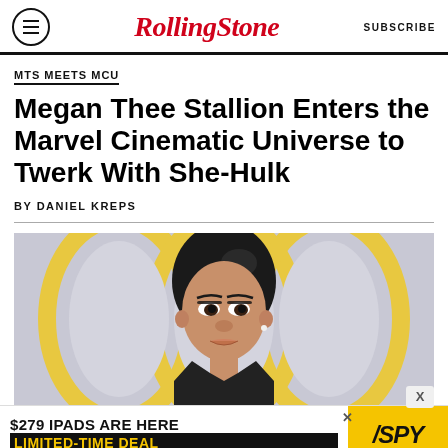RollingStone | SUBSCRIBE
MTS MEETS MCU
Megan Thee Stallion Enters the Marvel Cinematic Universe to Twerk With She-Hulk
BY DANIEL KREPS
[Figure (photo): Photo of a woman with dark hair pulled back, wearing dark clothing, against a decorative grey and yellow circular background.]
[Figure (other): Advertisement banner: '$279 IPADS ARE HERE LIMITED-TIME DEAL' with SPY logo on yellow background]